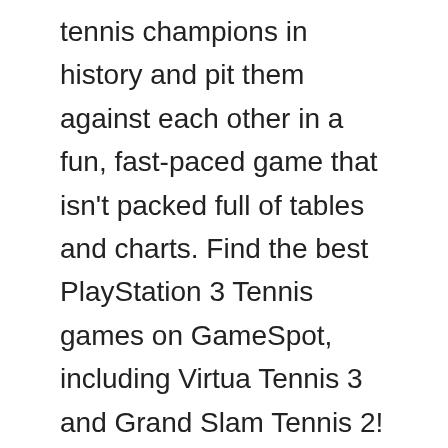tennis champions in history and pit them against each other in a fun, fast-paced game that isn't packed full of tables and charts. Find the best PlayStation 3 Tennis games on GameSpot, including Virtua Tennis 3 and Grand Slam Tennis 2! The best … The sun beats down on you hard and sweat forms on your brow. Tennis World Tour will have a slight chance of surviving on your PC's hard drive only if you have someone to play it with. Okay, so there's no real tennis players, like Roger Federer or Kim Clijsters but Wii tennis is one the... 2. You know, where it's not hot, and you don't need to sport head and wristbands to keep the sweat from hindering your game. Challenge your friends to thousands